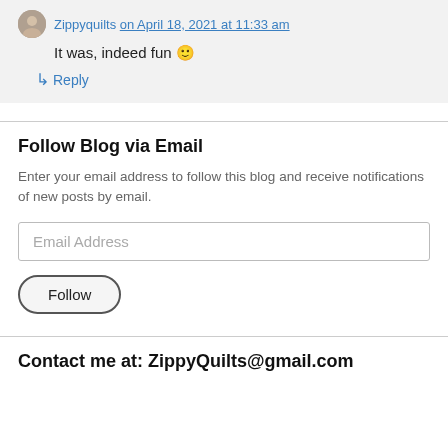It was, indeed fun 🙂
↳ Reply
Follow Blog via Email
Enter your email address to follow this blog and receive notifications of new posts by email.
Email Address
Follow
Contact me at: ZippyQuilts@gmail.com